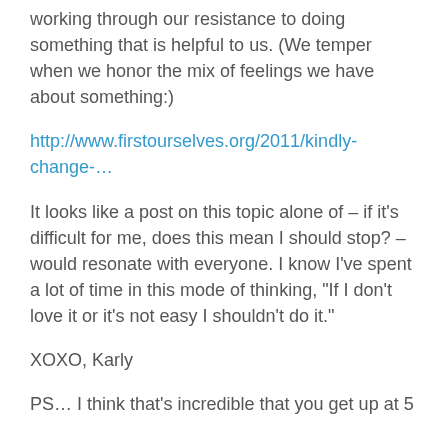working through our resistance to doing something that is helpful to us. (We temper when we honor the mix of feelings we have about something:)
http://www.firstourselves.org/2011/kindly-change-…
It looks like a post on this topic alone of – if it's difficult for me, does this mean I should stop? – would resonate with everyone. I know I've spent a lot of time in this mode of thinking, "If I don't love it or it's not easy I shouldn't do it."
XOXO, Karly
PS… I think that's incredible that you get up at 5